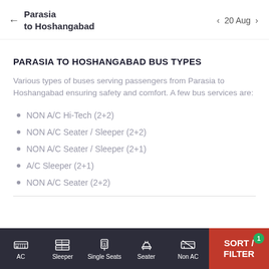Parasia to Hoshangabad  ← → 20 Aug
PARASIA TO HOSHANGABAD BUS TYPES
Various types of buses serving passengers from Parasia to Hoshangabad ensuring safety and comfort. A few bus services are:
NON A/C Hi-Tech (2+2)
NON A/C Seater / Sleeper (2+2)
NON A/C Seater / Sleeper (2+1)
A/C Sleeper (2+1)
NON A/C Seater (2+2)
AC  Sleeper  Single Seats  Seater  Non AC  SORT / FILTER  1